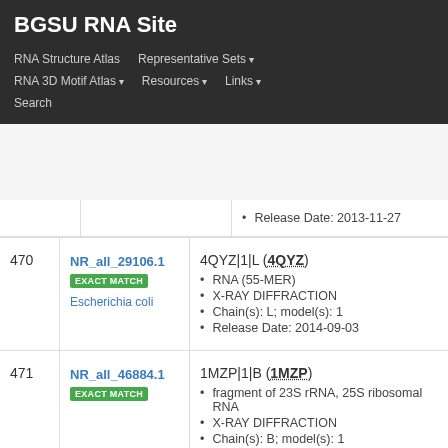BGSU RNA Site
RNA Structure Atlas | Representative Sets ▾ | RNA 3D Motif Atlas ▾ | Resources ▾ | Links ▾ | Search
Release Date: 2013-11-27
470
NR_all_29106.1 EXACT MATCH Escherichia coli
4QYZ|1|L (4QYZ)
• RNA (55-MER)
• X-RAY DIFFRACTION
• Chain(s): L; model(s): 1
• Release Date: 2014-09-03
471
NR_all_46884.1 EXACT MATCH
1MZP|1|B (1MZP)
• fragment of 23S rRNA, 25S ribosomal RNA
• X-RAY DIFFRACTION
• Chain(s): B; model(s): 1
• Release Date: 2003-01-21